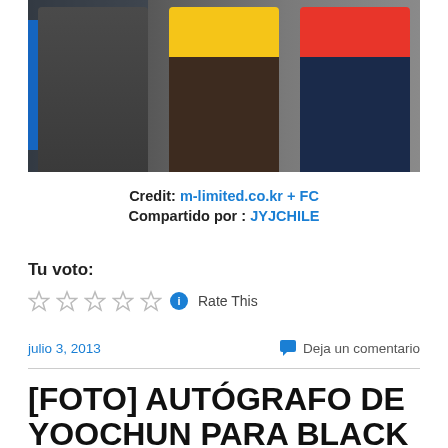[Figure (photo): Three men wearing sports/outdoor jackets. Left figure in dark grey jacket, center figure in brown/yellow jacket, right figure in navy/red jacket. Blue accent panel on the left side of the image.]
Credit: m-limited.co.kr + FC
Compartido por : JYJCHILE
Tu voto:
Rate This
julio 3, 2013
Deja un comentario
[FOTO] AUTÓGRAFO DE YOOCHUN PARA BLACK